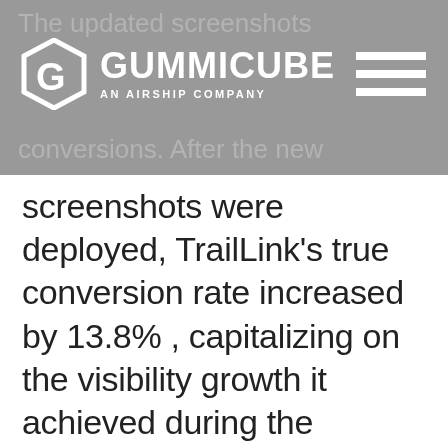[Figure (logo): Gummicube – An Airship Company logo with hexagonal G icon, white text on grey background, hamburger menu lines on right]
conversions. After the new screenshots were deployed, TrailLink's true conversion rate increased by 13.8%, capitalizing on the visibility growth it achieved during the metadata update.